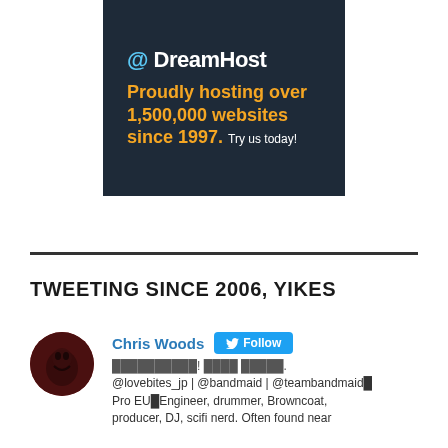[Figure (screenshot): DreamHost advertisement banner showing 'Proudly hosting over 1,500,000 websites since 1997. Try us today!' on a dark navy background with orange and white text.]
TWEETING SINCE 2006, YIKES
[Figure (photo): Circular avatar photo of Chris Woods with a dark reddish tint.]
Chris Woods  Follow
██████████! ████ █████.
@lovebites_jp | @bandmaid | @teambandmaid
Pro EU█Engineer, drummer, Browncoat, producer, DJ, scifi nerd. Often found near